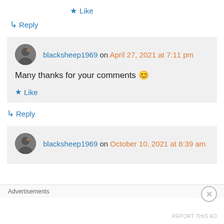★ Like
↳ Reply
blacksheep1969 on April 27, 2021 at 7:11 pm
Many thanks for your comments 😊
★ Like
↳ Reply
blacksheep1969 on October 10, 2021 at 8:39 am
Advertisements